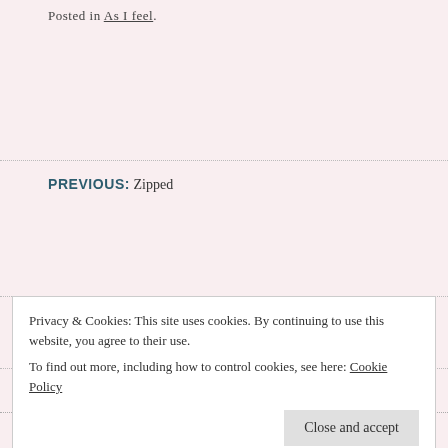Posted in As I feel.
PREVIOUS: Zipped
NEXT: RED
31 thoughts on "Do you have any answer?"
Atul Depak says:
Privacy & Cookies: This site uses cookies. By continuing to use this website, you agree to their use.
To find out more, including how to control cookies, see here: Cookie Policy
Close and accept
best at my level to help them all in their studies.